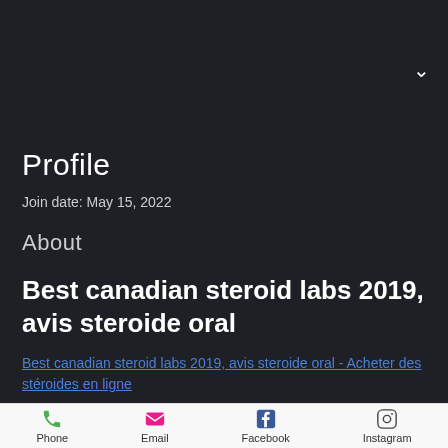Profile
Join date: May 15, 2022
About
Best canadian steroid labs 2019, avis steroide oral
Best canadian steroid labs 2019, avis steroide oral - Acheter des stéroides en ligne
Phone  Email  Facebook  Instagram